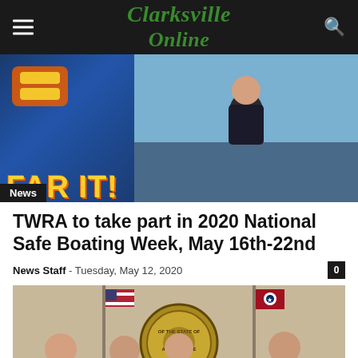Clarksville Online
[Figure (photo): Banner advertisement with 'FAR IT!' text on left and a person on a boat on the right, with a 'News' badge overlay]
TWRA to take part in 2020 National Safe Boating Week, May 16th-22nd
News Staff – Tuesday, May 12, 2020
[Figure (photo): Four men in uniform and formal attire standing in front of the Tennessee State Seal with US and Tennessee flags, holding a proclamation document]